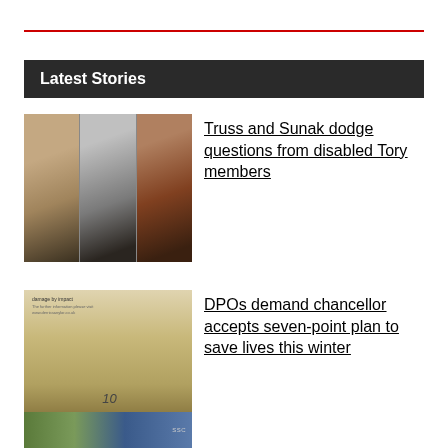Latest Stories
[Figure (photo): Three-panel composite photo showing three people]
Truss and Sunak dodge questions from disabled Tory members
[Figure (photo): Photo of coins on a white surface with text 'damage by impact' and the number 10 written, with colorful items at the bottom labeled SSC]
DPOs demand chancellor accepts seven-point plan to save lives this winter